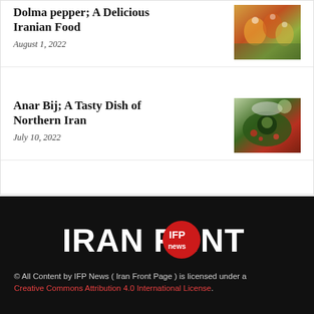Dolma pepper; A Delicious Iranian Food
August 1, 2022
[Figure (photo): Photo of dolma pepper dish]
Anar Bij; A Tasty Dish of Northern Iran
July 10, 2022
[Figure (photo): Photo of Anar Bij dish]
[Figure (logo): Iran Front Page (IFP News) logo with red circular badge]
© All Content by IFP News ( Iran Front Page ) is licensed under a Creative Commons Attribution 4.0 International License.